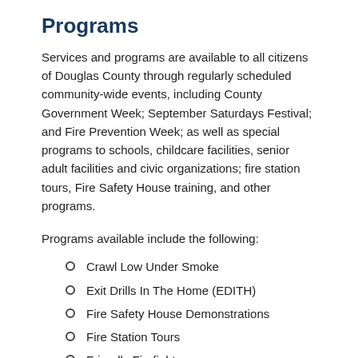Programs
Services and programs are available to all citizens of Douglas County through regularly scheduled community-wide events, including County Government Week; September Saturdays Festival; and Fire Prevention Week; as well as special programs to schools, childcare facilities, senior adult facilities and civic organizations; fire station tours, Fire Safety House training, and other programs.
Programs available include the following:
Crawl Low Under Smoke
Exit Drills In The Home (EDITH)
Fire Safety House Demonstrations
Fire Station Tours
Friendly Firefighter
Juvenile Firesetter Intervention Program
Senior Adult Safety